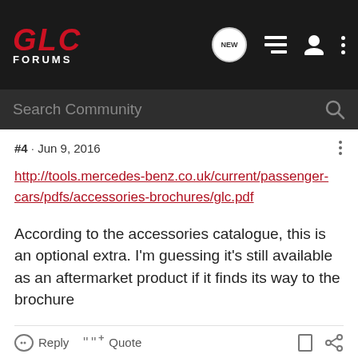GLC FORUMS
#4 · Jun 9, 2016
http://tools.mercedes-benz.co.uk/current/passenger-cars/pdfs/accessories-brochures/glc.pdf
According to the accessories catalogue, this is an optional extra. I'm guessing it's still available as an aftermarket product if it finds its way to the brochure
Reply  Quote